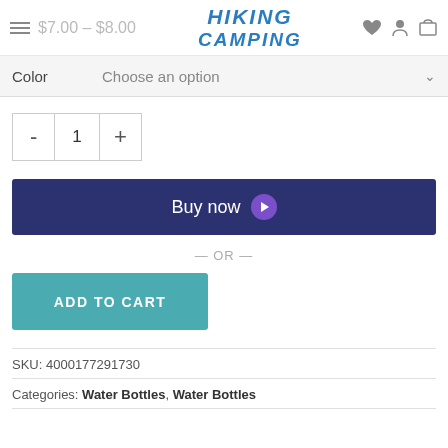$7.00 – $8.00 HIKING CAMPING
Color  Choose an option
- 1 +
Buy now
— OR —
ADD TO CART
SKU: 4000177291730
Categories: Water Bottles, Water Bottles